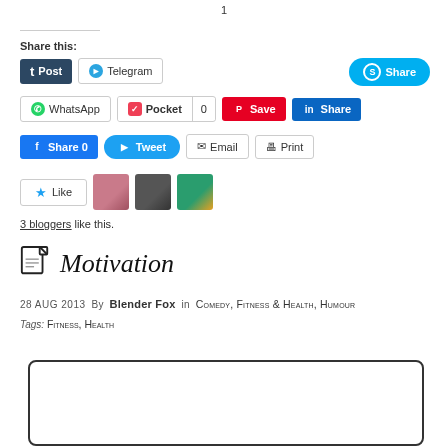1
Share this:
[Figure (screenshot): Social sharing buttons row 1: Post (Tumblr), Telegram, Skype Share]
[Figure (screenshot): Social sharing buttons row 2: WhatsApp, Pocket 0, Save (Pinterest), LinkedIn Share]
[Figure (screenshot): Social sharing buttons row 3: Facebook Share 0, Tweet, Email, Print]
[Figure (screenshot): Like button with star icon and 3 blogger avatars]
3 bloggers like this.
Motivation
28 Aug 2013  By  Blender Fox   in  Comedy, Fitness & Health, Humour
Tags: Fitness, Health
[Figure (other): Empty rounded rectangle box placeholder for image]